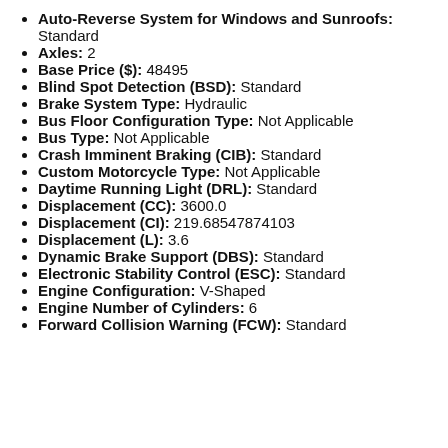Auto-Reverse System for Windows and Sunroofs: Standard
Axles: 2
Base Price ($): 48495
Blind Spot Detection (BSD): Standard
Brake System Type: Hydraulic
Bus Floor Configuration Type: Not Applicable
Bus Type: Not Applicable
Crash Imminent Braking (CIB): Standard
Custom Motorcycle Type: Not Applicable
Daytime Running Light (DRL): Standard
Displacement (CC): 3600.0
Displacement (CI): 219.68547874103
Displacement (L): 3.6
Dynamic Brake Support (DBS): Standard
Electronic Stability Control (ESC): Standard
Engine Configuration: V-Shaped
Engine Number of Cylinders: 6
Forward Collision Warning (FCW): Standard